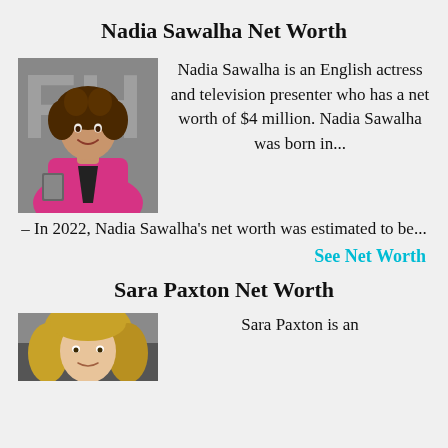Nadia Sawalha Net Worth
[Figure (photo): Photo of Nadia Sawalha wearing a pink blazer, holding a small book, in front of a backdrop with letters]
Nadia Sawalha is an English actress and television presenter who has a net worth of $4 million. Nadia Sawalha was born in... – In 2022, Nadia Sawalha's net worth was estimated to be...
See Net Worth
Sara Paxton Net Worth
[Figure (photo): Photo of Sara Paxton, partial view, blonde hair]
Sara Paxton is an